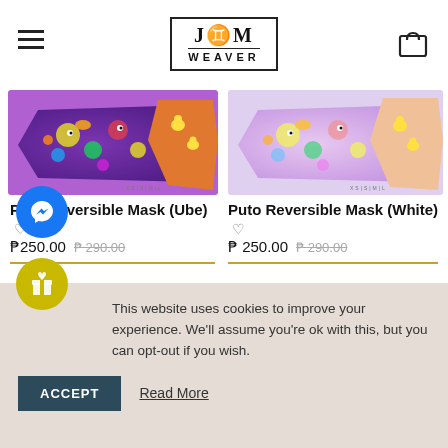JIM WEAVER - Navigation Header
[Figure (photo): Puto Reversible Mask (Ube) product photo - colorful purple and orange patterned fabric mask]
Puto Reversible Mask (Ube) ♡
₱250.00 ₱290.00
[Figure (photo): Puto Reversible Mask (White) product photo - colorful white and orange patterned fabric mask]
Puto Reversible Mask (White) ♡
₱ 250.00 ₱290.00
This website uses cookies to improve your experience. We'll assume you're ok with this, but you can opt-out if you wish.
ACCEPT   Read More